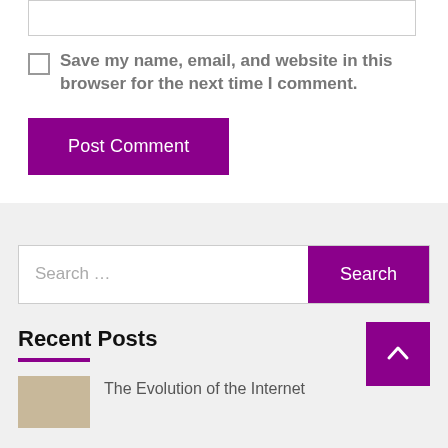[Figure (screenshot): Textarea input box at the top of the comment form]
Save my name, email, and website in this browser for the next time I comment.
[Figure (screenshot): Post Comment button in purple]
[Figure (screenshot): Search bar with Search button in purple]
Recent Posts
[Figure (screenshot): Thumbnail image for The Evolution of the Internet article]